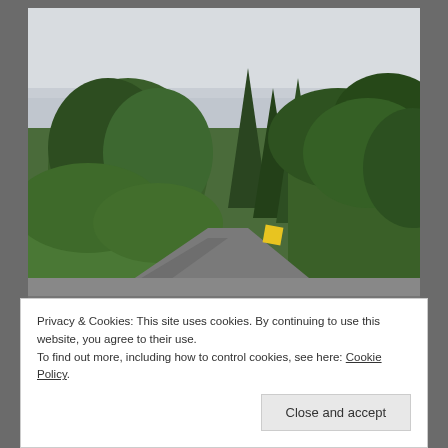[Figure (photo): Outdoor photo of a road scene with dense green trees and shrubs on a hillside under an overcast sky. A small yellow road sign is partially visible among the vegetation.]
Privacy & Cookies: This site uses cookies. By continuing to use this website, you agree to their use.
To find out more, including how to control cookies, see here: Cookie Policy
[Figure (photo): Partial view of another outdoor photo at the bottom of the page showing green trees.]